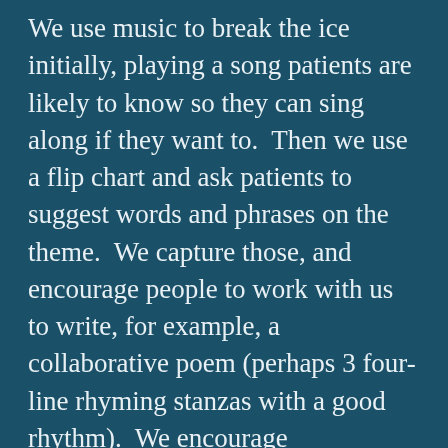We use music to break the ice initially, playing a song patients are likely to know so they can sing along if they want to.  Then we use a flip chart and ask patients to suggest words and phrases on the theme.  We capture those, and encourage people to work with us to write, for example, a collaborative poem (perhaps 3 four-line rhyming stanzas with a good rhythm).  We encourage reminiscence which might be helpful to dementia patients.  The number of care workers attending the two information-sharing sessions averaged around 20-25.  It was good to discuss with them how poetry might help patients, and to consider suggestions from the care workers how our little CPS team might improve our sessions.  More volunteers are needed, so if you live or work in Cheltenham or Gloucester, and would like more information about our sessions, please join this group or please contact